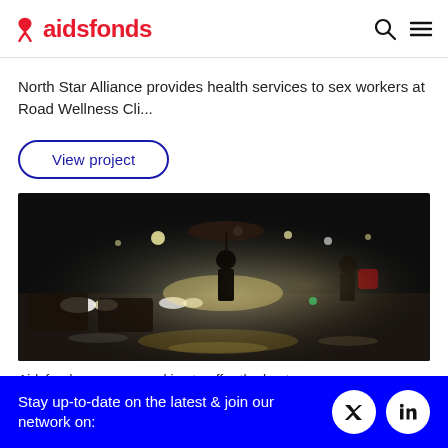aidsfonds
North Star Alliance provides health services to sex workers at Road Wellness Cli...
View project
[Figure (photo): Night street scene with silhouettes of people, one holding an umbrella, with car headlights and wet road reflections in the background.]
Aidsfonds.org uses cookies to offer the best
Stay up-to-date on the latest & join our network on: